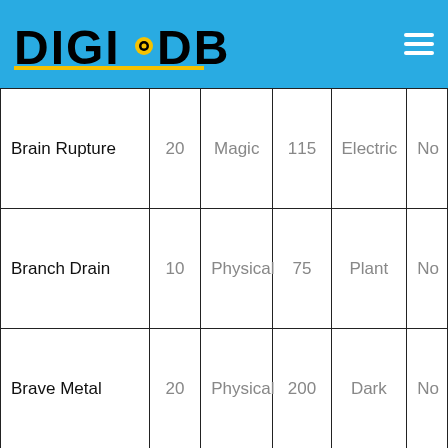DIGI DB
| Name | Level | Type | Power | Element | ... |
| --- | --- | --- | --- | --- | --- |
| Brain Rupture | 20 | Magic | 115 | Electric | No |
| Branch Drain | 10 | Physical | 75 | Plant | No |
| Brave Metal | 20 | Physical | 200 | Dark | No |